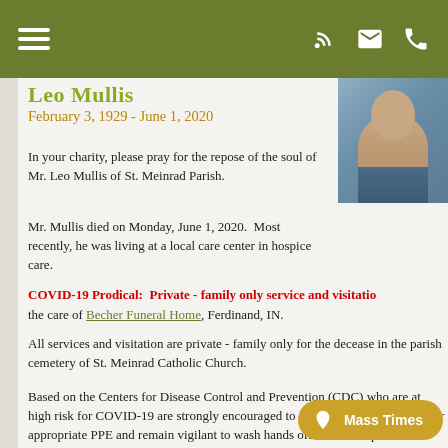Navigation header with hamburger menu and icons
Leo Mullis
February 3, 1929 - June 1, 2020
[Figure (photo): Portrait photo of Leo Mullis]
In your charity, please pray for the repose of the soul of Mr. Leo Mullis of St. Meinrad Parish.
Mr. Mullis died on Monday, June 1, 2020.  Most recently, he was living at a local care center in hospice care.
COVID-19 Prodical:  Private - family only service and visitation the care of Becher Funeral Home, Ferdinand, IN.
All services and visitation are private - family only for the deceased in the parish cemetery of St. Meinrad Catholic Church.
Based on the Centers for Disease Control and Prevention (CDC) who are at high risk for COVID-19 are strongly encouraged to attending a funeral, wear appropriate PPE and remain vigilant to wash hands often with soap and water fo us hand sanitizer that contains at least 60% alcohol. If soap and water and water should be used if the hands are visibly soiled; avoid